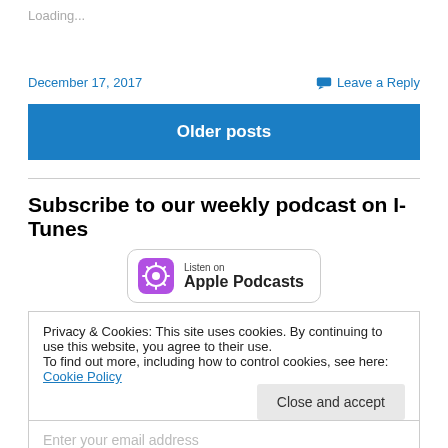Loading...
December 17, 2017
Leave a Reply
Older posts
Subscribe to our weekly podcast on I-Tunes
[Figure (logo): Listen on Apple Podcasts badge with purple podcast icon]
Privacy & Cookies: This site uses cookies. By continuing to use this website, you agree to their use.
To find out more, including how to control cookies, see here: Cookie Policy
Close and accept
Enter your email address